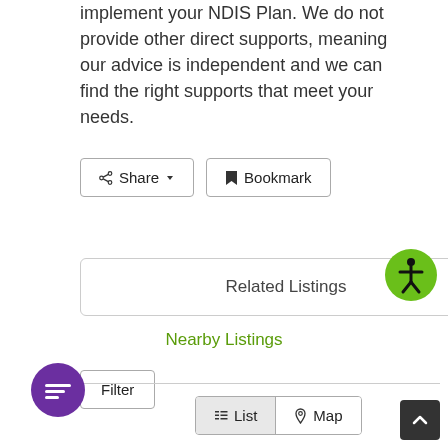implement your NDIS Plan. We do not provide other direct supports, meaning our advice is independent and we can find the right supports that meet your needs.
[Figure (screenshot): Share button with dropdown arrow and Bookmark button with bookmark icon]
[Figure (screenshot): Related Listings box with border]
[Figure (infographic): Green circle accessibility icon (person figure)]
Nearby Listings
[Figure (screenshot): Filter button]
[Figure (screenshot): List and Map toggle buttons]
[Figure (screenshot): Purple chat/message circle button at bottom left]
[Figure (screenshot): Dark scroll-to-top button at bottom right]